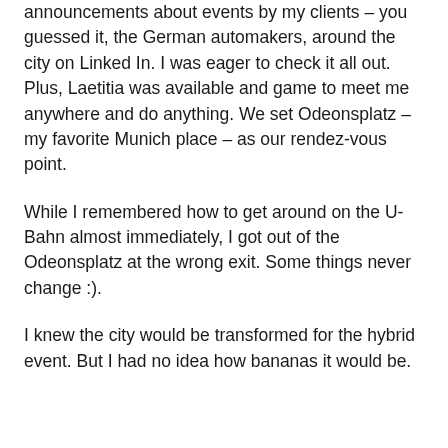announcements about events by my clients – you guessed it, the German automakers, around the city on Linked In. I was eager to check it all out. Plus, Laetitia was available and game to meet me anywhere and do anything. We set Odeonsplatz – my favorite Munich place – as our rendez-vous point.
While I remembered how to get around on the U-Bahn almost immediately, I got out of the Odeonsplatz at the wrong exit. Some things never change :).
I knew the city would be transformed for the hybrid event. But I had no idea how bananas it would be.